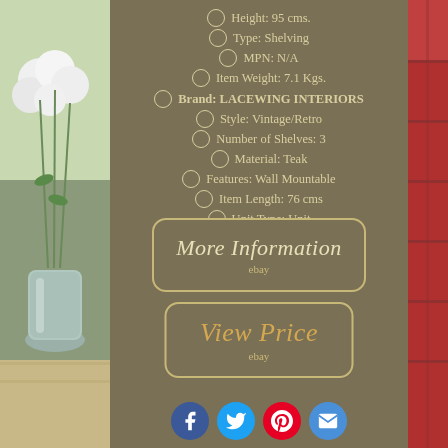[Figure (photo): Left side photo of flower vase with white flowers in a galvanized metal bucket, on a wooden surface, with green and brown background]
[Figure (photo): Right side photo of red barn wood/wall]
Height: 95 cms.
Type: Shelving
MPN: N/A
Item Weight: 7.1 Kgs.
Brand: LACEWING INTERIORS
Style: Vintage/Retro
Number of Shelves: 3
Material: Teak
Features: Wall Mountable
Item Length: 76 cms
Unit Type: Unit
Room: Children's Bedroom
[Figure (other): More Information button with eBay logo]
[Figure (other): View Price button with eBay logo]
[Figure (other): Social media sharing icons: Facebook, Twitter, Pinterest, Email]